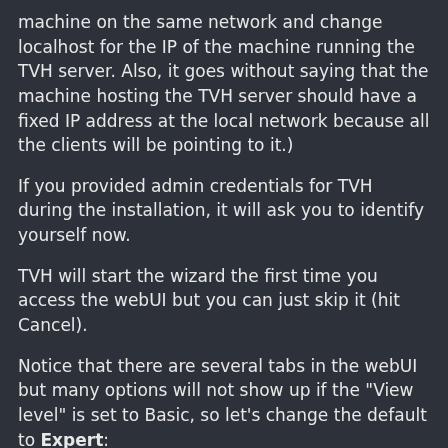machine on the same network and change localhost for the IP of the machine running the TVH server. Also, it goes without saying that the machine hosting the TVH server should have a fixed IP address at the local network because all the clients will be pointing to it.)
If you provided admin credentials for TVH during the installation, it will ask you to identify yourself now.
TVH will start the wizard the first time you access the webUI but you can just skip it (hit Cancel).
Notice that there are several tabs in the webUI but many options will not show up if the "View level" is set to Basic, so let's change the default to Expert:
# Go to Configuration > General > Base > Server > Set "U
Now, let's configure the Stream profiles to restart on error: